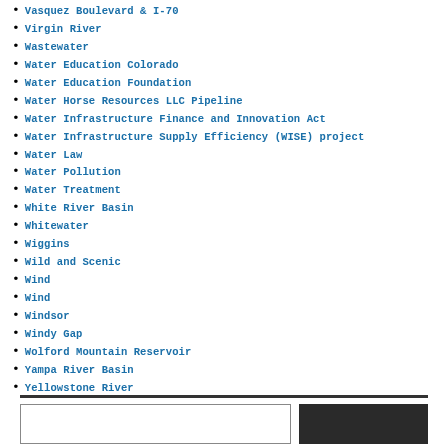Vasquez Boulevard & I-70
Virgin River
Wastewater
Water Education Colorado
Water Education Foundation
Water Horse Resources LLC Pipeline
Water Infrastructure Finance and Innovation Act
Water Infrastructure Supply Efficiency (WISE) project
Water Law
Water Pollution
Water Treatment
White River Basin
Whitewater
Wiggins
Wild and Scenic
Wind
Wind
Windsor
Windy Gap
Wolford Mountain Reservoir
Yampa River Basin
Yellowstone River